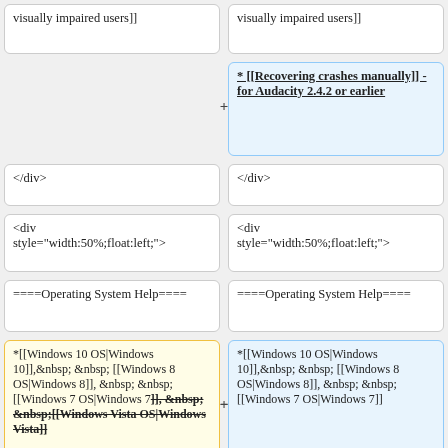visually impaired users]]
visually impaired users]]
* [[Recovering crashes manually]] - for Audacity 2.4.2 or earlier
</div>
</div>
<div style="width:50%;float:left;">
<div style="width:50%;float:left;">
====Operating System Help====
====Operating System Help====
*[[Windows 10 OS|Windows 10]],&nbsp; &nbsp; [[Windows 8 OS|Windows 8]], &nbsp; &nbsp;[[Windows 7 OS|Windows 7]], &nbsp; &nbsp;[[Windows Vista OS|Windows Vista]]
*[[Windows 10 OS|Windows 10]],&nbsp; &nbsp; [[Windows 8 OS|Windows 8]], &nbsp; &nbsp;[[Windows 7 OS|Windows 7]]